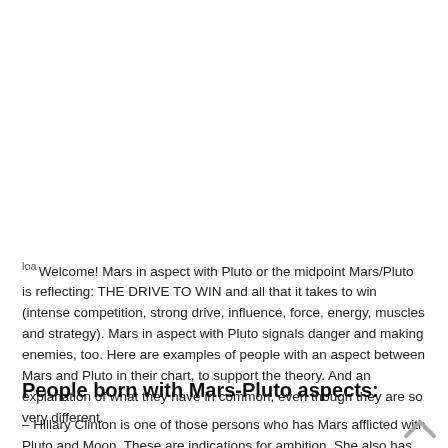loa Welcome! Mars in aspect with Pluto or the midpoint Mars/Pluto is reflecting: THE DRIVE TO WIN and all that it takes to win (intense competition, strong drive, influence, force, energy, muscles and strategy). Mars in aspect with Pluto signals danger and making enemies, too. Here are examples of people with an aspect between Mars and Pluto in their chart, to support the theory. And an explanation of what they have in common, even though they are so very different.
People born with Mars-Pluto aspects:
– Hillary Clinton is one of those persons who has Mars afflicted with Pluto and Moon. These are indications for ambition. She also has the ascendant